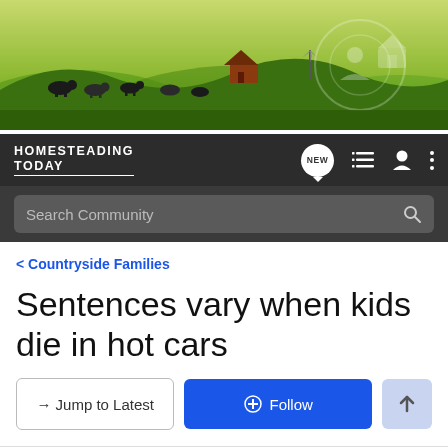[Figure (illustration): Homesteading Today website banner showing green rolling hills with cattle, a farmhouse, windmill, and semi-transparent farming icons on the right side against a green landscape background.]
HOMESTEADING TODAY
Search Community
< Countryside Families
Sentences vary when kids die in hot cars
→ Jump to Latest
+ Follow
1 - 20 of 46 Posts
1 of 3